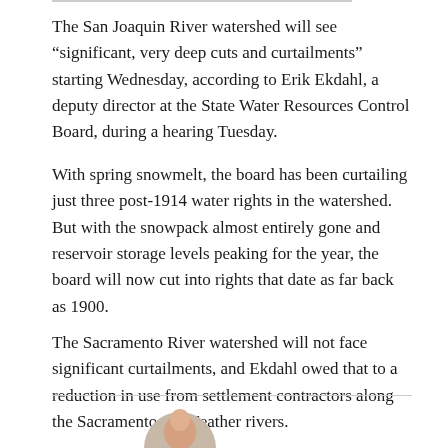The San Joaquin River watershed will see “significant, very deep cuts and curtailments” starting Wednesday, according to Erik Ekdahl, a deputy director at the State Water Resources Control Board, during a hearing Tuesday.
With spring snowmelt, the board has been curtailing just three post-1914 water rights in the watershed. But with the snowpack almost entirely gone and reservoir storage levels peaking for the year, the board will now cut into rights that date as far back as 1900.
The Sacramento River watershed will not face significant curtailments, and Ekdahl owed that to a reduction in use from settlement contractors along the Sacramento and Feather rivers.